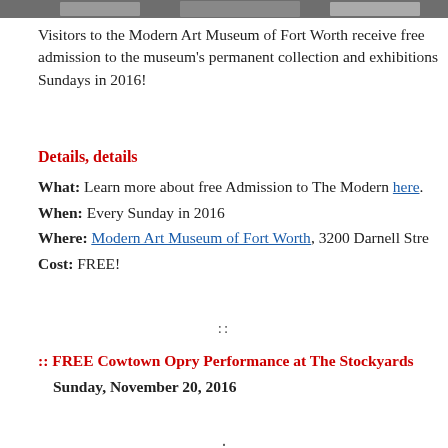[Figure (photo): Partial photo strip at top of page, showing a cropped image of people or artwork]
Visitors to the Modern Art Museum of Fort Worth receive free admission to the museum's permanent collection and exhibitions Sundays in 2016!
Details, details
What: Learn more about free Admission to The Modern here.
When: Every Sunday in 2016
Where: Modern Art Museum of Fort Worth, 3200 Darnell Stre...
Cost: FREE!
::
:: FREE Cowtown Opry Performance at The Stockyards
Sunday, November 20, 2016
.